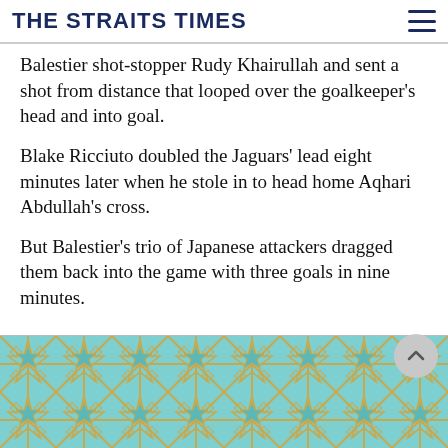THE STRAITS TIMES
Balestier shot-stopper Rudy Khairullah and sent a shot from distance that looped over the goalkeeper's head and into goal.
Blake Ricciuto doubled the Jaguars' lead eight minutes later when he stole in to head home Aqhari Abdullah's cross.
But Balestier's trio of Japanese attackers dragged them back into the game with three goals in nine minutes.
[Figure (illustration): Decorative geometric pattern in teal/blue and gold colors, resembling Islamic geometric tile art, used as an advertisement banner at the bottom of the page.]